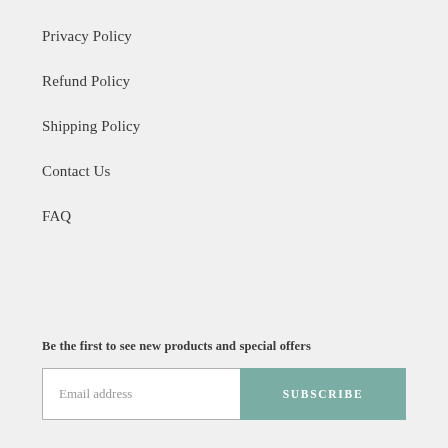Privacy Policy
Refund Policy
Shipping Policy
Contact Us
FAQ
Be the first to see new products and special offers